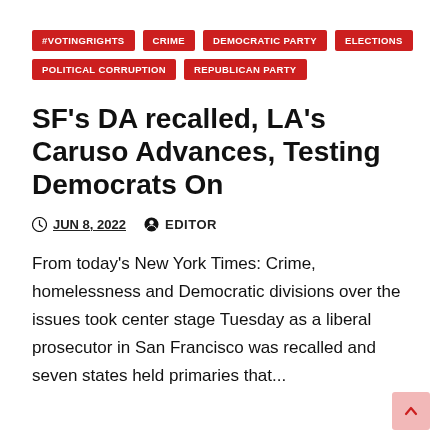#VOTINGRIGHTS
CRIME
DEMOCRATIC PARTY
ELECTIONS
POLITICAL CORRUPTION
REPUBLICAN PARTY
SF's DA recalled, LA's Caruso Advances, Testing Democrats On
JUN 8, 2022   EDITOR
From today's New York Times: Crime, homelessness and Democratic divisions over the issues took center stage Tuesday as a liberal prosecutor in San Francisco was recalled and seven states held primaries that...